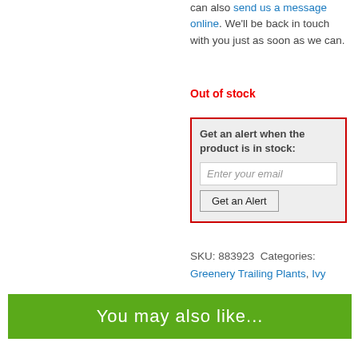can also send us a message online. We'll be back in touch with you just as soon as we can.
Out of stock
Get an alert when the product is in stock:
Enter your email
Get an Alert
SKU: 883923 Categories: Greenery Trailing Plants, Ivy
You may also like...